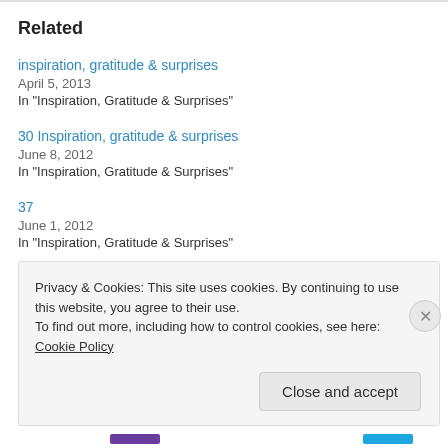Related
inspiration, gratitude & surprises
April 5, 2013
In "Inspiration, Gratitude & Surprises"
30 Inspiration, gratitude & surprises
June 8, 2012
In "Inspiration, Gratitude & Surprises"
37
June 1, 2012
In "Inspiration, Gratitude & Surprises"
Privacy & Cookies: This site uses cookies. By continuing to use this website, you agree to their use.
To find out more, including how to control cookies, see here: Cookie Policy
Close and accept